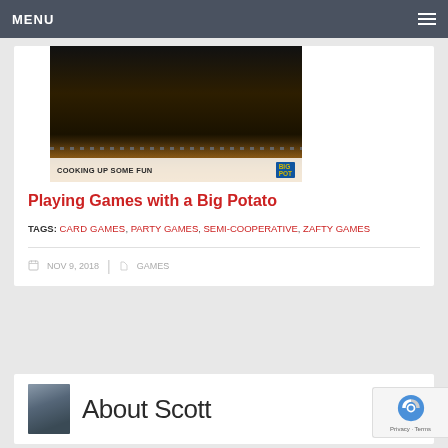MENU
[Figure (photo): Photo of board games inside an oven with overlay text 'COOKING UP SOME FUN']
Playing Games with a Big Potato
TAGS: CARD GAMES, PARTY GAMES, SEMI-COOPERATIVE, ZAFTY GAMES
NOV 9, 2018   GAMES
About Scott